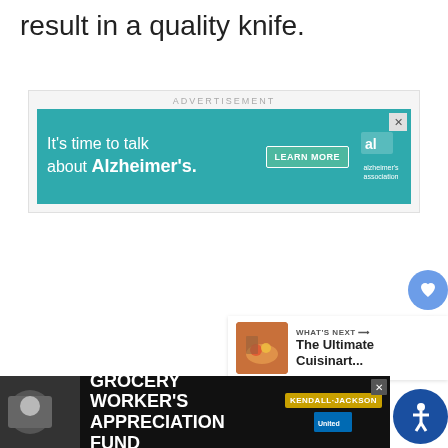result in a quality knife.
[Figure (screenshot): Advertisement banner: Alzheimer's Association - 'It's time to talk about Alzheimer's.' with LEARN MORE button and Alzheimer's Association logo]
[Figure (screenshot): Floating heart (save) button in blue circle]
[Figure (screenshot): Floating share button in white circle with shadow]
[Figure (screenshot): What's Next panel with thumbnail image and text 'The Ultimate Cuisinart...']
[Figure (screenshot): Bottom advertisement bar: Grocery Worker's Appreciation Fund with Kendall-Jackson and United Way logos]
[Figure (screenshot): Accessibility button (person icon) in dark blue circle at bottom right]